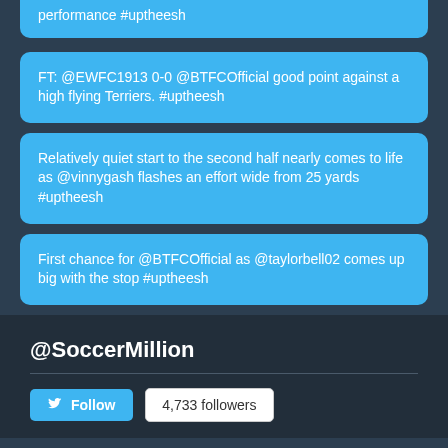performance #uptheesh
FT: @EWFC1913 0-0 @BTFCOfficial good point against a high flying Terriers. #uptheesh
Relatively quiet start to the second half nearly comes to life as @vinnygash flashes an effort wide from 25 yards #uptheesh
First chance for @BTFCOfficial as @taylorbell02 comes up big with the stop #uptheesh
@SoccerMillion
Follow   4,733 followers